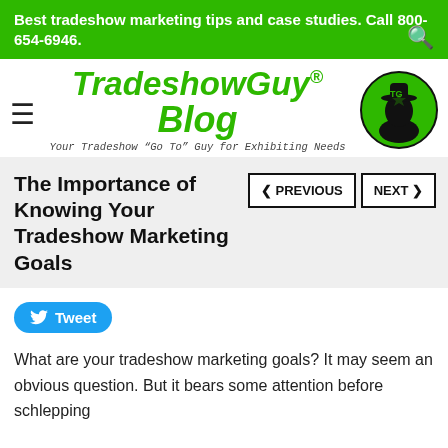Best tradeshow marketing tips and case studies. Call 800-654-6946.
TradeshowGuy® Blog – Your Tradeshow "Go To" Guy for Exhibiting Needs
The Importance of Knowing Your Tradeshow Marketing Goals
What are your tradeshow marketing goals? It may seem an obvious question. But it bears some attention before schlepping